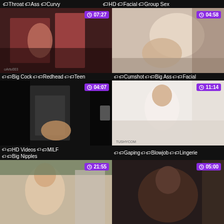Throat  Ass  Curvy
HD  Facial  Group Sex
[Figure (photo): Video thumbnail with duration 07:27]
[Figure (photo): Video thumbnail with duration 04:58]
Big Cock  Redhead  Teen
Cumshot  Big Ass  Facial
[Figure (photo): Video thumbnail with duration 04:07]
[Figure (photo): Video thumbnail with duration 11:14]
HD Videos  MILF  Big Nipples
Gaping  Blowjob  Lingerie
[Figure (photo): Video thumbnail with duration 21:55]
[Figure (photo): Video thumbnail with duration 05:00]